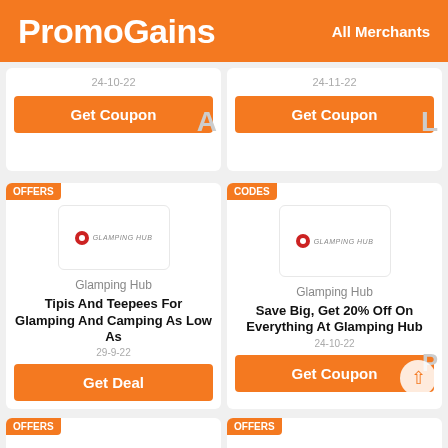PromoGains — All Merchants
24-10-22
Get Coupon
24-11-22
Get Coupon
OFFERS
CODES
Glamping Hub
Tipis And Teepees For Glamping And Camping As Low As
29-9-22
Get Deal
Glamping Hub
Save Big, Get 20% Off On Everything At Glamping Hub
24-10-22
Get Coupon
OFFERS
OFFERS